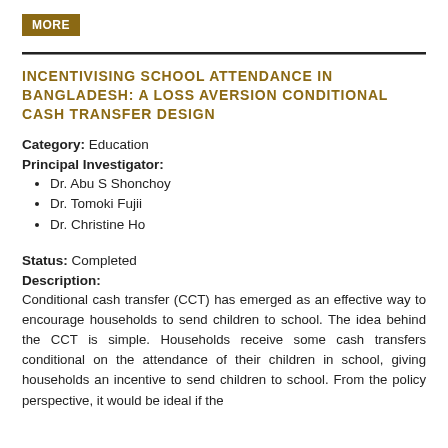MORE
INCENTIVISING SCHOOL ATTENDANCE IN BANGLADESH: A LOSS AVERSION CONDITIONAL CASH TRANSFER DESIGN
Category: Education
Principal Investigator:
Dr. Abu S Shonchoy
Dr. Tomoki Fujii
Dr. Christine Ho
Status: Completed
Description:
Conditional cash transfer (CCT) has emerged as an effective way to encourage households to send children to school. The idea behind the CCT is simple. Households receive some cash transfers conditional on the attendance of their children in school, giving households an incentive to send children to school. From the policy perspective, it would be ideal if the